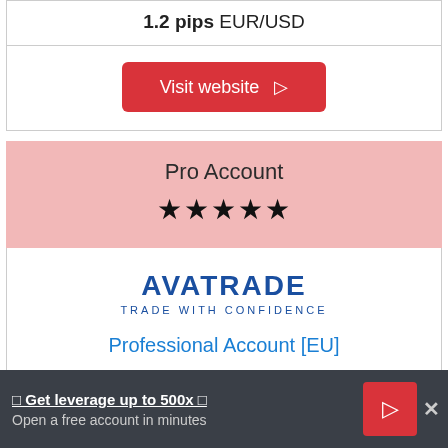1.2 pips EUR/USD
Visit website ▷
Pro Account ★★★★★
[Figure (logo): AvaTrade logo with text AVATRADE TRADE WITH CONFIDENCE]
Professional Account [EU]
🔔 Get leverage up to 500x 🔔 Open a free account in minutes